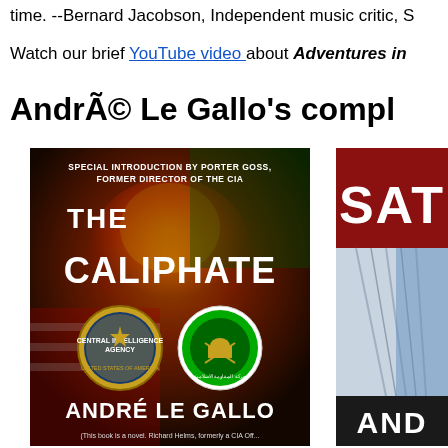time. --Bernard Jacobson, Independent music critic, S
Watch our brief YouTube video about Adventures in
André Le Gallo's compl
[Figure (photo): Book cover of 'The Caliphate' by André Le Gallo, with special introduction by Porter Goss, Former Director of the CIA. Features CIA and Hamas logos on a fiery background with flags.]
[Figure (photo): Partial view of another book cover, showing 'SAT' text in white on red background and 'AND' text at bottom, with a building/architecture image.]